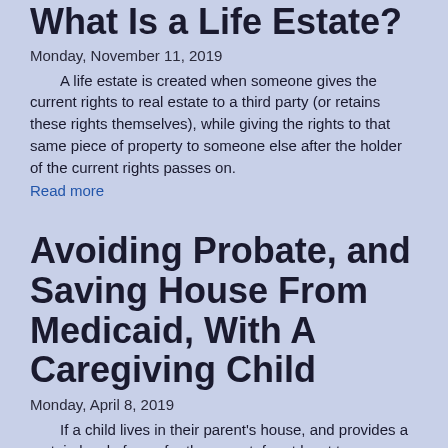What Is a Life Estate?
Monday, November 11, 2019
A life estate is created when someone gives the current rights to real estate to a third party (or retains these rights themselves), while giving the rights to that same piece of property to someone else after the holder of the current rights passes on.
Read more
Avoiding Probate, and Saving House From Medicaid, With A Caregiving Child
Monday, April 8, 2019
If a child lives in their parent's house, and provides a certain level of care for the parent, for at least two years, the parent can give the house to the child without creating a period of Medicaid ineligibility.
Read more
Buying Real Estate With An